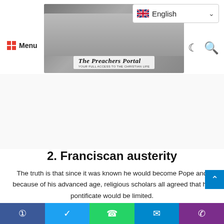The Preachers Portal — Menu | English language selector | dark mode and search icons
[Figure (photo): The Preachers Portal website logo with group photo of preachers and site name in italic script]
[Figure (screenshot): English language selector dropdown with UK flag]
2. Franciscan austerity
The truth is that since it was known he would become Pope and because of his advanced age, religious scholars all agreed that his pontificate would be limited.
ALSO, READ Pope Francis Appoints Bishop Peter
Social share bar: Facebook, Twitter, WhatsApp, Telegram, Phone